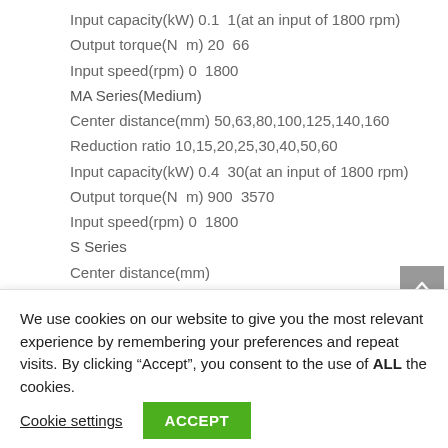Input capacity(kW) 0.1  1(at an input of 1800 rpm)
Output torque(N  m) 20  66
Input speed(rpm) 0  1800
MA Series(Medium)
Center distance(mm) 50,63,80,100,125,140,160
Reduction ratio 10,15,20,25,30,40,50,60
Input capacity(kW) 0.4  30(at an input of 1800 rpm)
Output torque(N  m) 900  3570
Input speed(rpm) 0  1800
S Series
Center distance(mm)
50,63,70,80,100,120,125,155,175,200,225,250,280,350
We use cookies on our website to give you the most relevant experience by remembering your preferences and repeat visits. By clicking “Accept”, you consent to the use of ALL the cookies.
Cookie settings  ACCEPT